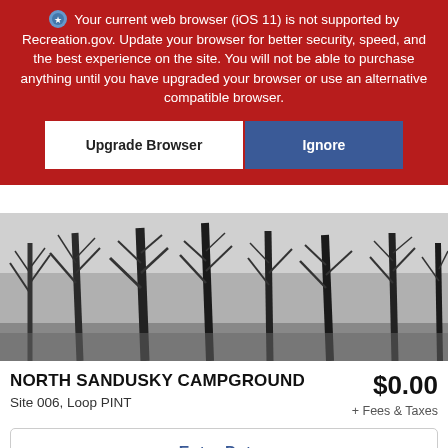Your current web browser (iOS 11) is not supported by Recreation.gov. Update your browser for better security, speed, and the best experience on the site. You will not be able to purchase anything until you have upgraded your browser or use an alternative compatible browser.
[Figure (screenshot): Two buttons: 'Upgrade Browser' (white background) and 'Ignore' (blue background) on a red banner]
[Figure (photo): Black and white photograph of bare winter trees in a campground]
NORTH SANDUSKY CAMPGROUND
$0.00
Site 006, Loop PINT
+ Fees & Taxes
Enter Dates